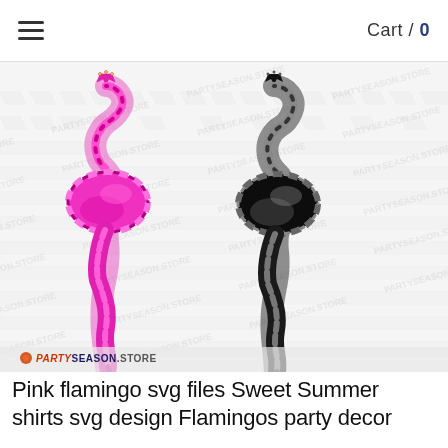Cart / 0
[Figure (illustration): Two decorative flamingo SVG designs on a watermarked background. Left flamingo is pink/magenta with plaid/argyle pattern, wearing a crown. Right flamingo is black and gray with plaid/argyle pattern, wearing a crown. Both are stylized standing flamingos. Watermark pattern reads 'PARTYSEASON.STORE' repeatedly in background. Logo 'PARTYSEASON.STORE' visible in bottom left corner.]
Pink flamingo svg files Sweet Summer shirts svg design Flamingos party decor